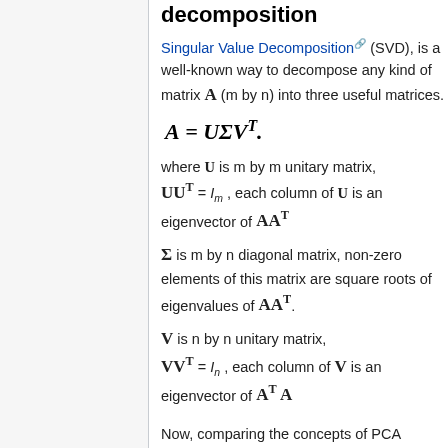decomposition
Singular Value Decomposition (SVD), is a well-known way to decompose any kind of matrix A (m by n) into three useful matrices.
where U is m by m unitary matrix, UU^T = I_m, each column of U is an eigenvector of AA^T
Σ is m by n diagonal matrix, non-zero elements of this matrix are square roots of eigenvalues of AA^T.
V is n by n unitary matrix, VV^T = I_n, each column of V is an eigenvector of A^T A
Now, comparing the concepts of PCA